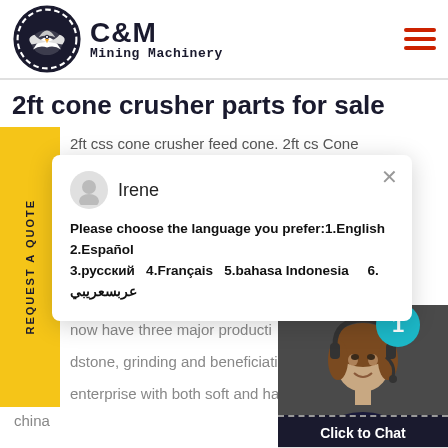[Figure (logo): C&M Mining Machinery logo with eagle gear icon in navy blue]
2ft cone crusher parts for sale
2ft css cone crusher feed cone. 2ft cs Cone
[Figure (screenshot): Chat popup with agent Irene. Message: Please choose the language you prefer:1.English 2.Español 3.русский 4.Français 5.bahasa Indonesia 6. عربسعريبي]
y.After 40 years of innovation a
now have three major producti
dstone, grinding and beneficiati
enterprise with both soft and ha
china
Click to Chat
Enquiry